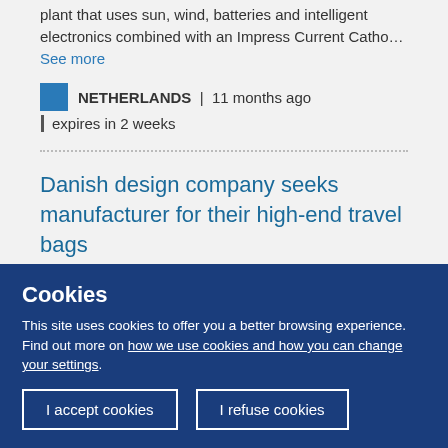plant that uses sun, wind, batteries and intelligent electronics combined with an Impress Current Catho… See more
NETHERLANDS  |  11 months ago  |  expires in 2 weeks
Danish design company seeks manufacturer for their high-end travel bags
A Danish SME, based in Copenhagen, has designed, and developed a new series of high-end
Cookies
This site uses cookies to offer you a better browsing experience. Find out more on how we use cookies and how you can change your settings.
I accept cookies
I refuse cookies